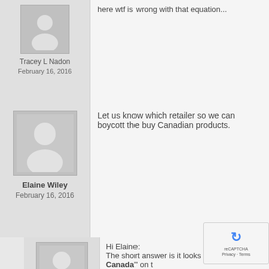here wtf is wrong with that equation...
Tracey L Nadon
February 16, 2016
[Figure (illustration): Generic user avatar placeholder — grey silhouette of a person]
Elaine Wiley
February 16, 2016
Let us know which retailer so we can boycott the buy Canadian products.
[Figure (illustration): Generic user avatar placeholder — grey silhouette of a person]
kenlarsen
February 17, 2016
Hi Elaine:
The short answer is it looks li for "Product of Canada" on t
For more information, the Ca Inspection Agency controls th Canada. They ha here:
http://www.inspection.gc.ca